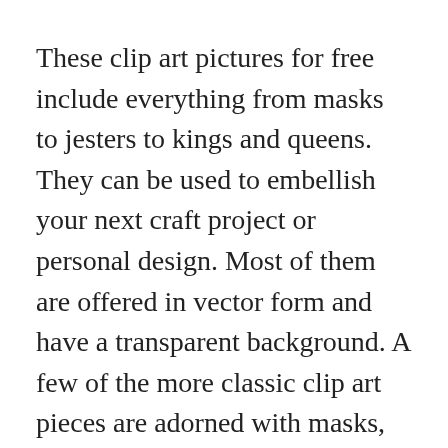These clip art pictures for free include everything from masks to jesters to kings and queens. They can be used to embellish your next craft project or personal design. Most of them are offered in vector form and have a transparent background. A few of the more classic clip art pieces are adorned with masks, text and Fleur De Lis symbols. Select the appropriate clip art to suit your needs and you'll be certain to be pleased with the outcome.
If you're creating an invite for a Mardi Gras celebration, free clip art can assist you to